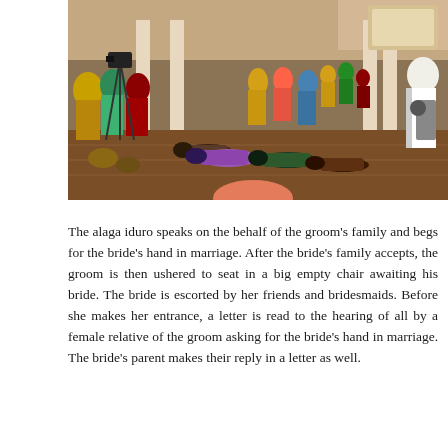[Figure (photo): Indoor photo of a traditional Yoruba engagement ceremony (introduction/introduction ceremony) showing people in colorful attire prostrating on the floor, others standing, camera equipment on a tripod, and a chandelier-lit banquet hall.]
The alaga iduro speaks on the behalf of the groom's family and begs for the bride's hand in marriage. After the bride's family accepts, the groom is then ushered to seat in a big empty chair awaiting his bride. The bride is escorted by her friends and bridesmaids. Before she makes her entrance, a letter is read to the hearing of all by a female relative of the groom asking for the bride's hand in marriage. The bride's parent makes their reply in a letter as well.